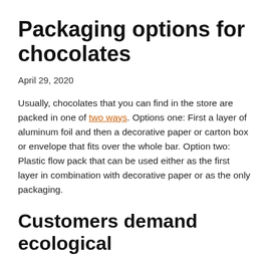Packaging options for chocolates
April 29, 2020
Usually, chocolates that you can find in the store are packed in one of two ways. Options one: First a layer of aluminum foil and then a decorative paper or carton box or envelope that fits over the whole bar. Option two: Plastic flow pack that can be used either as the first layer in combination with decorative paper or as the only packaging.
Customers demand ecological